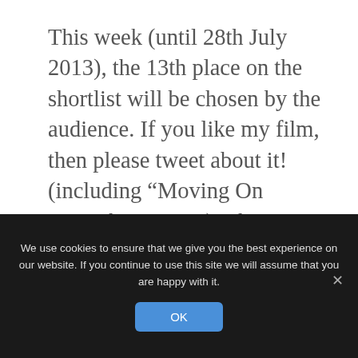This week (until 28th July 2013), the 13th place on the shortlist will be chosen by the audience. If you like my film, then please tweet about it! (including “Moving On #VMShortsVote”). The easiest way to do that is directly from the link above.
PS I think exclamation marks are under used so I’m trying to make up for it 🙂 !!!!!!!!!!!!!!!!!!!!!!!!!!!!!!!!!!!!!!!!!!!!!!!!!!!
We use cookies to ensure that we give you the best experience on our website. If you continue to use this site we will assume that you are happy with it.